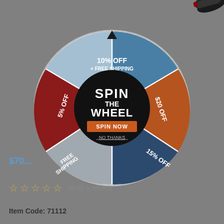[Figure (infographic): Spin the wheel promotional popup overlay on a product page. A circular prize wheel divided into 5 colored segments: blue (10% OFF + FREE SHIPPING, top), orange/rust ($20 OFF, right), dark blue (15% OFF, bottom right), gray (FREE SHIPPING, bottom left), red/dark red (5% OFF, left). Center black circle contains SPIN THE WHEEL text and an orange SPIN NOW button and NO THANKS link. A knife handle is visible in the top right. A partial price '$70...' is visible at bottom left. Five empty star rating icons and 'Write a review' text appear near the bottom.]
$70...
Write a review
Item Code: 71112